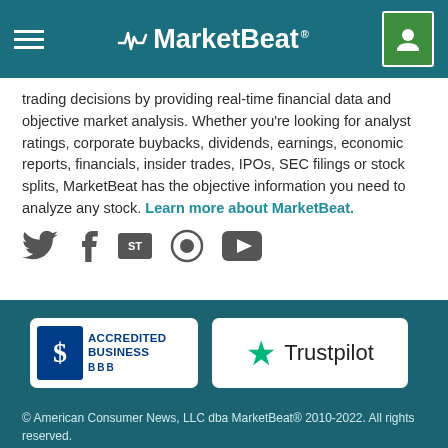MarketBeat
trading decisions by providing real-time financial data and objective market analysis. Whether you're looking for analyst ratings, corporate buybacks, dividends, earnings, economic reports, financials, insider trades, IPOs, SEC filings or stock splits, MarketBeat has the objective information you need to analyze any stock. Learn more about MarketBeat.
[Figure (logo): Social media icons row: Twitter, Facebook, StockTwits, Seeking Alpha, YouTube]
[Figure (logo): BBB Accredited Business badge]
[Figure (logo): Trustpilot badge]
© American Consumer News, LLC dba MarketBeat® 2010-2022. All rights reserved.
326 E 8th St #105, Sioux Falls, SD 57103 | contact@marketbeat.com | (844) 978-6257
MarketBeat does not provide personalized financial advice and does not issue recommendations or offers to buy stock or sell